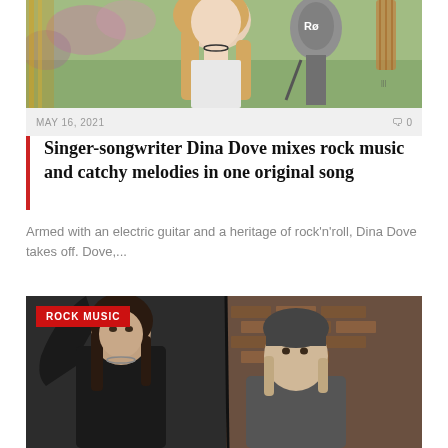[Figure (photo): Photo of a blonde woman singer with a microphone and guitar, with floral/garden background]
MAY 16, 2021  0
Singer-songwriter Dina Dove mixes rock music and catchy melodies in one original song
Armed with an electric guitar and a heritage of rock'n'roll, Dina Dove takes off. Dove,...
[Figure (photo): Two male rock musicians side by side, with 'ROCK MUSIC' badge overlay]